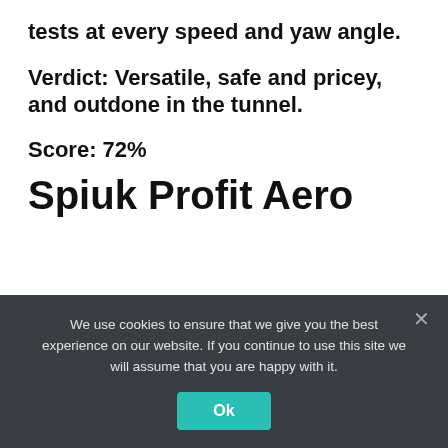tests at every speed and yaw angle.
Verdict: Versatile, safe and pricey, and outdone in the tunnel.
Score: 72%
Spiuk Profit Aero
[Figure (photo): Partial top view of a white and black Spiuk Profit Aero cycling helmet with honeycomb vents]
We use cookies to ensure that we give you the best experience on our website. If you continue to use this site we will assume that you are happy with it.